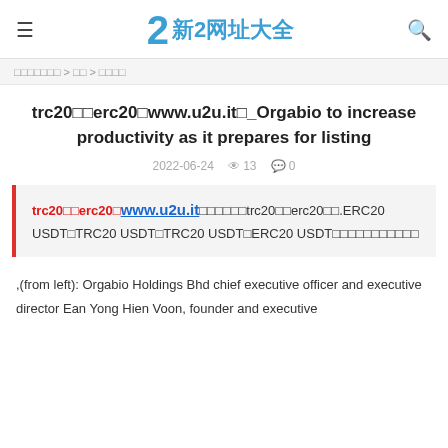≡  新2网址大全  🔍
□□□□□□□ > □□ > □□□□
trc20□□erc20□www.u2u.it□_Orgabio to increase productivity as it prepares for listing
2022-06-24   👁 13   💬 0
trc20□□erc20□www.u2u.it□□□□□□trc20□□erc20□□.ERC20 USDT□TRC20 USDT□TRC20 USDT□ERC20 USDT□□□□□□□□□□□
,(from left): Orgabio Holdings Bhd chief executive officer and executive director Ean Yong Hien Voon, founder and executive